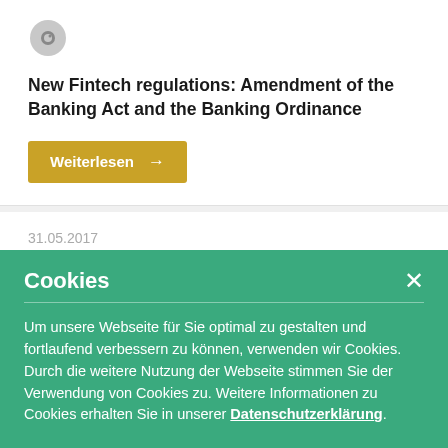[Figure (other): Eye/visibility icon in gray]
New Fintech regulations: Amendment of the Banking Act and the Banking Ordinance
Weiterlesen →
31.05.2017
Cookies
Um unsere Webseite für Sie optimal zu gestalten und fortlaufend verbessern zu können, verwenden wir Cookies. Durch die weitere Nutzung der Webseite stimmen Sie der Verwendung von Cookies zu. Weitere Informationen zu Cookies erhalten Sie in unserer Datenschutzerklärung.